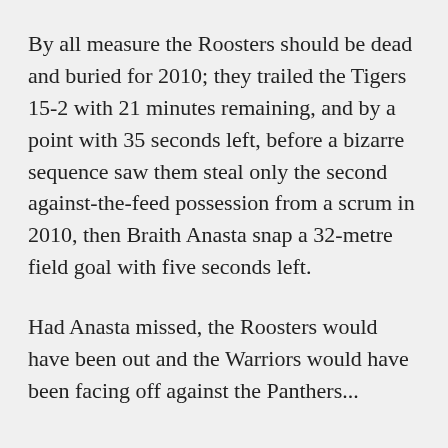By all measure the Roosters should be dead and buried for 2010; they trailed the Tigers 15-2 with 21 minutes remaining, and by a point with 35 seconds left, before a bizarre sequence saw them steal only the second against-the-feed possession from a scrum in 2010, then Braith Anasta snap a 32-metre field goal with five seconds left.
Had Anasta missed, the Roosters would have been out and the Warriors would have been facing off against the Panthers...